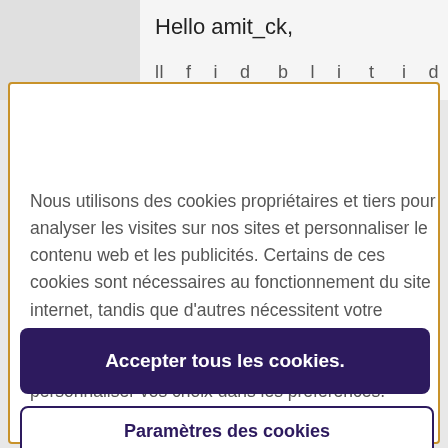Hello amit_ck,
Nous utilisons des cookies propriétaires et tiers pour analyser les visites sur nos sites et personnaliser le contenu web et les publicités. Certains de ces cookies sont nécessaires au fonctionnement du site internet, tandis que d'autres nécessitent votre consentement. Vous pouvez trouver plus de détails concernant notre politique en matière de cookies et personnaliser vos choix dans les préférences.
Accepter tous les cookies.
Paramètres des cookies